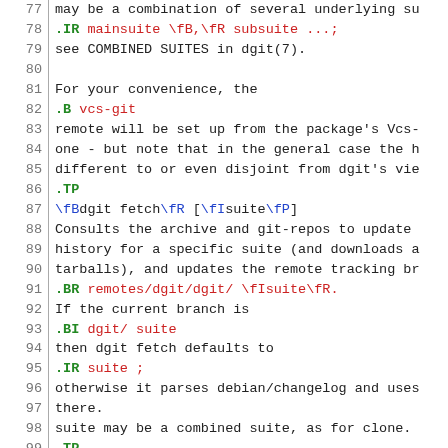Source code / man page markup lines 77-106 showing dgit command documentation with troff-style markup
77  may be a combination of several underlying su
78  .IR mainsuite \fB,\fR subsuite ...;
79  see COMBINED SUITES in dgit(7).
80
81  For your convenience, the
82  .B vcs-git
83  remote will be set up from the package's Vcs-
84  one - but note that in the general case the h
85  different to or even disjoint from dgit's vie
86  .TP
87  \fBdgit fetch\fR [\fIsuite\fP]
88  Consults the archive and git-repos to update
89  history for a specific suite (and downloads a
90  tarballs), and updates the remote tracking br
91  .BR remotes/dgit/dgit/ \fIsuite\fR.
92  If the current branch is
93  .BI dgit/ suite
94  then dgit fetch defaults to
95  .IR suite ;
96  otherwise it parses debian/changelog and uses
97  there.
98  suite may be a combined suite, as for clone.
99  .TP
100 \fBdgit pull\fR [\fIsuite\fP]
101 Does dgit fetch, and then merges the new hea
102 branch
103 .BI remotes/dgit/dgit/ suite
104 into the current branch.
105 .TP
106 \fBdgit build\fR ...